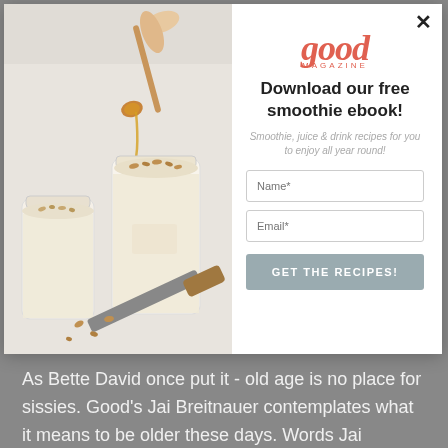[Figure (photo): Smoothie jars with toppings, a honey dipper dripping honey, and a knife on a white surface]
Download our free smoothie ebook!
Smoothie, juice & drink recipes for you to enjoy all year round!
Name*
Email*
GET THE RECIPES!
As Bette David once put it - old age is no place for sissies. Good's Jai Breitnauer contemplates what it means to be older these days. Words Jai Breitnauer 1. There are more of us New Zealand is getting older,